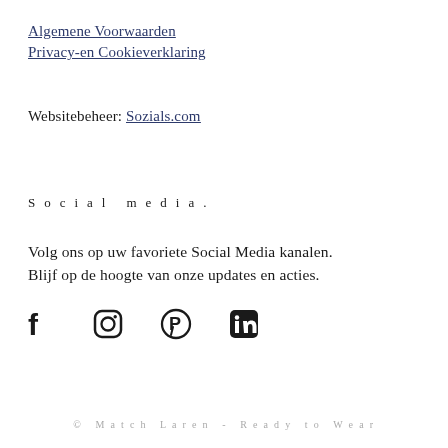Algemene Voorwaarden
Privacy-en Cookieverklaring
Websitebeheer: Sozials.com
Social media.
Volg ons op uw favoriete Social Media kanalen. Blijf op de hoogte van onze updates en acties.
[Figure (infographic): Social media icons: Facebook, Instagram, Pinterest, LinkedIn]
© Match Laren - Ready to Wear